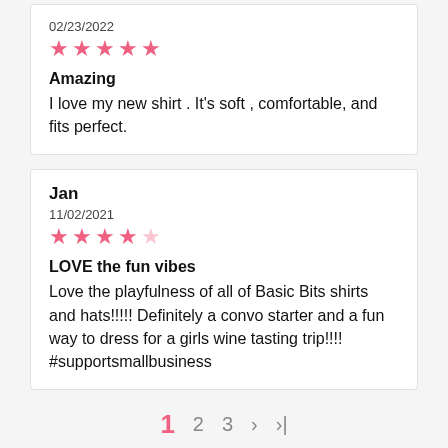02/23/2022
★★★★★
Amazing
I love my new shirt . It's soft , comfortable, and fits perfect.
Jan
11/02/2021
★★★★☆
LOVE the fun vibes
Love the playfulness of all of Basic Bits shirts and hats!!!!! Definitely a convo starter and a fun way to dress for a girls wine tasting trip!!!! #supportsmallbusiness
1  2  3  >  >|